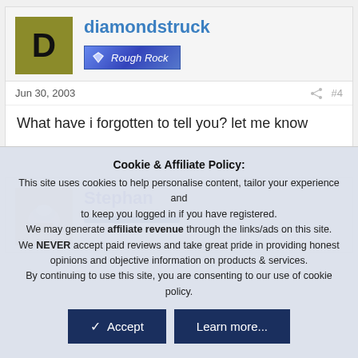diamondstruck
[Figure (other): Rough Rock badge/label with diamond icon]
Jun 30, 2003  #4
What have i forgotten to tell you? let me know
Stephan
[Figure (photo): Avatar photo of a diamond ring held in fingers]
Cookie & Affiliate Policy: This site uses cookies to help personalise content, tailor your experience and to keep you logged in if you have registered. We may generate affiliate revenue through the links/ads on this site. We NEVER accept paid reviews and take great pride in providing honest opinions and objective information on products & services. By continuing to use this site, you are consenting to our use of cookie policy.
Accept
Learn more...